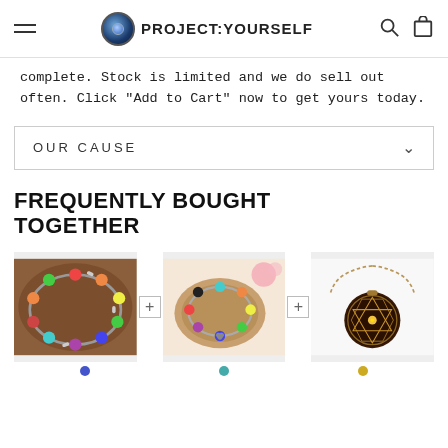PROJECT:YOURSELF
complete. Stock is limited and we do sell out often. Click "Add to Cart" now to get yours today.
OUR CAUSE
FREQUENTLY BOUGHT TOGETHER
[Figure (photo): Three product photos in a row: a colorful chakra bead bracelet, a chakra charm bracelet on wood, and a Sri Yantra pendant necklace, separated by small plus icons]
Colored bead selectors below each product